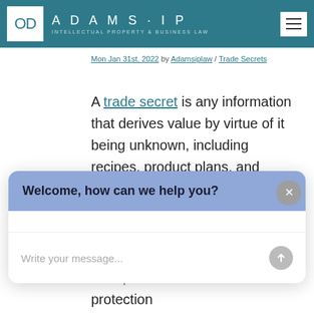Adams IP — Intellectual Property & Business Law
Mon Jan 31st, 2022 by Adamsiplaw / Trade Secrets
A trade secret is any information that derives value by virtue of it being unknown, including recipes, product plans, and customer lists, among many others. Trade secrets can be extremely valuable for companies
[Figure (screenshot): Chat widget overlay with header 'Welcome, how can we help you?' and input field 'Write your message...']
hand, loss of trade secret protection